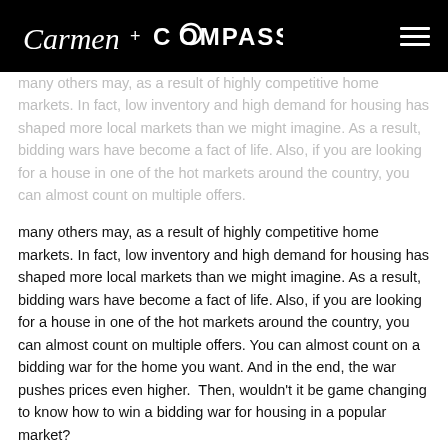[Figure (logo): Carmen + Compass logo on black header bar with hamburger menu icon]
many others may, as a result of highly competitive home markets. In fact, low inventory and high demand for housing has shaped more local markets than we might imagine. As a result, bidding wars have become a fact of life. Also, if you are looking for a house in one of the hot markets around the country, you can almost count on multiple offers. You can almost count on a bidding war for the home you want. And in the end, the war pushes prices even higher.  Then, wouldn't it be game changing to know how to win a bidding war for housing in a popular market?
If you know how to win a bidding war, it will be far less likely that you come out on the losing end for a home you want to buy. Also, in a competitive market, that's invaluable. In fact, you'll have some solid control vs